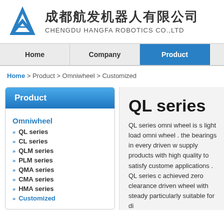成都航发机器人有限公司 CHENGDU HANGFA ROBOTICS CO.,LTD
Home | Company | Product
Home > Product > Omniwheel > Customized
Product
Omniwheel
» QL series
» CL series
» QLM series
» PLM series
» QMA series
» CMA series
» HMA series
» Customized
QL series
QL series omni wheel is s light load omni wheel . the bearings in every driven w supply products with high quality to satisfy custome applications . QL series c achieved zero clearance driven wheel with steady particularly suitable for di